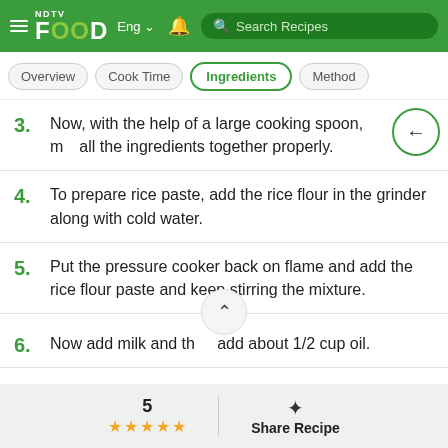NDTV FOOD Eng — Search Recipes
Overview | Cook Time | Ingredients | Method
3. Now, with the help of a large cooking spoon, mix all the ingredients together properly.
4. To prepare rice paste, add the rice flour in the grinder along with cold water.
5. Put the pressure cooker back on flame and add the rice flour paste and keep stirring the mixture.
6. Now add milk and then add about 1/2 cup oil.
5 ★★★★★  Share Recipe